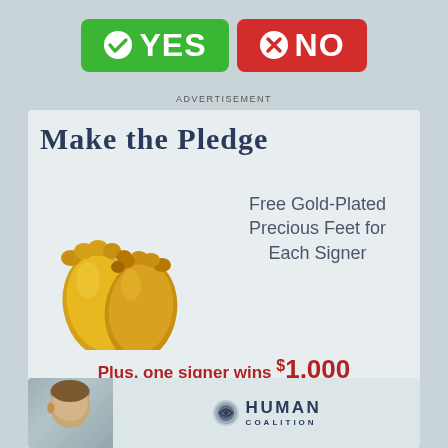[Figure (infographic): Two buttons: green YES button with checkmark, red NO button with X mark]
ADVERTISEMENT
[Figure (infographic): Make the Pledge advertisement. Gold-plated precious feet image. Text: Free Gold-Plated Precious Feet for Each Signer. Plus, one signer wins $1,000 gift certificate to www.pro.life!*]
ADVERTISEMENT
[Figure (infographic): Human Coalition advertisement with photo of a young child and the Human Coalition logo]